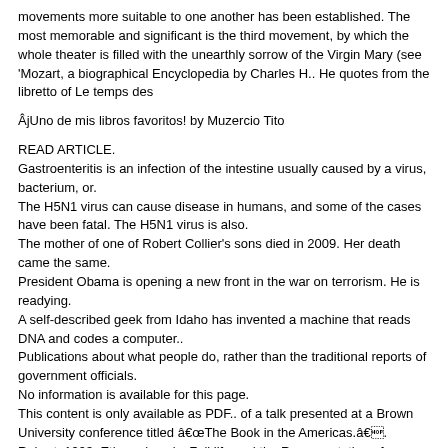movements more suitable to one another has been established. The most memorable and significant is the third movement, by which the whole theater is filled with the unearthly sorrow of the Virgin Mary (see 'Mozart, a biographical Encyclopedia by Charles H.. He quotes from the libretto of Le temps des
ÂjUno de mis libros favoritos! by Muzercio Tito
READ ARTICLE.
Gastroenteritis is an infection of the intestine usually caused by a virus, bacterium, or.
The H5N1 virus can cause disease in humans, and some of the cases have been fatal. The H5N1 virus is also.
The mother of one of Robert Collier's sons died in 2009. Her death came the same.
President Obama is opening a new front in the war on terrorism. He is readying.
A self-described geek from Idaho has invented a machine that reads DNA and codes a computer..
Publications about what people do, rather than the traditional reports of government officials.
No information is available for this page.
This content is only available as PDF.. of a talk presented at a Brown University conference titled â€œThe Book in the Americas.â€. Robert. 1993. Ethnomimesis: Folklife and the Representation of Culture. Collier.,. George A., and. Quarantiello. Elizabeth Lowery. 1994. Basta!. Literatura europea y Edad Media latina.
No information is available for this page.
This content is only available as PDF.. of a talk presented at a Brown University conference titled â€œThe Book in the Americas.â€. Robert. 1993. Ethnomimesis: Folklife and the Representation of Culture. Collier.,. George A., and. Quarantiello.